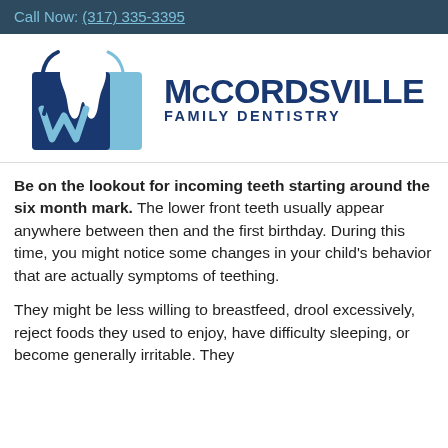Call Now: (317) 335-3395
[Figure (logo): McCordsville Family Dentistry logo with blue tooth and W shape icon]
Be on the lookout for incoming teeth starting around the six month mark. The lower front teeth usually appear anywhere between then and the first birthday. During this time, you might notice some changes in your child's behavior that are actually symptoms of teething.
They might be less willing to breastfeed, drool excessively, reject foods they used to enjoy, have difficulty sleeping, or become generally irritable. They